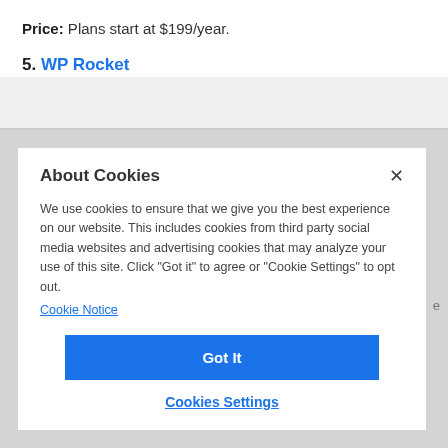Price: Plans start at $199/year.
5. WP Rocket
About Cookies
We use cookies to ensure that we give you the best experience on our website. This includes cookies from third party social media websites and advertising cookies that may analyze your use of this site. Click "Got it" to agree or "Cookie Settings" to opt out.
Cookie Notice
Got It
Cookies Settings